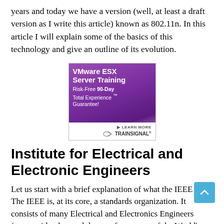years and today we have a version (well, at least a draft version as I write this article) known as 802.11n. In this article I will explain some of the basics of this technology and give an outline of its evolution.
[Figure (other): Advertisement for VMware ESX Server Training by TrainSignal. Purple gradient background with white text: 'VMware ESX Server Training', 'Risk-Free 90-Day Total Experience ™ Guarantee!'. Bottom white strip: '▶ LEARN MORE' and TrainSignal logo.]
Institute for Electrical and Electronic Engineers
Let us start with a brief explanation of what the IEEE is. The IEEE is, at its core, a standards organization. It consists of many Electrical and Electronics Engineers (many with advanced degrees from some of the World's most prestigious Universities) who are experts in their